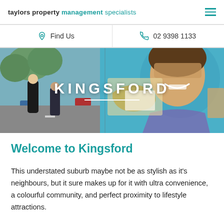taylors property management specialists
Find Us
02 9398 1133
[Figure (photo): Hero image of Kingsford suburb showing a street mural with a painted face and map of Australia, and two people standing in foreground. Large text overlay reads KINGSFORD with a white underline.]
Welcome to Kingsford
This understated suburb maybe not be as stylish as it's neighbours, but it sure makes up for it with ultra convenience, a colourful community, and perfect proximity to lifestyle attractions.